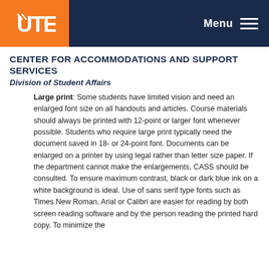UTEP | Menu
CENTER FOR ACCOMMODATIONS AND SUPPORT SERVICES
Division of Student Affairs
Large print: Some students have limited vision and need an enlarged font size on all handouts and articles. Course materials should always be printed with 12-point or larger font whenever possible. Students who require large print typically need the document saved in 18- or 24-point font. Documents can be enlarged on a printer by using legal rather than letter size paper. If the department cannot make the enlargements, CASS should be consulted. To ensure maximum contrast, black or dark blue ink on a white background is ideal. Use of sans serif type fonts such as Times New Roman, Arial or Calibri are easier for reading by both screen reading software and by the person reading the printed hard copy. To minimize the